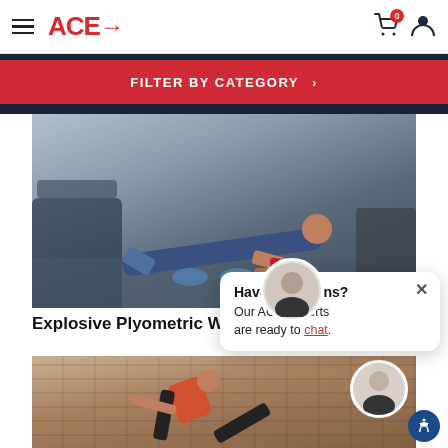ACE→ [hamburger menu] [cart icon with badge 0] [user icon]
FILTER BY CATEGORY >
[Figure (photo): A man in a blue shirt doing a plank/mountain climber exercise on a gym floor with treadmills in the background]
Explosive Plyometric Workout
Have Questions? Our ACE Experts are ready to chat.
[Figure (photo): A woman in an orange top doing a side kick or balance exercise in a gym with brick wall background, with an ACE expert avatar shown in bottom right]